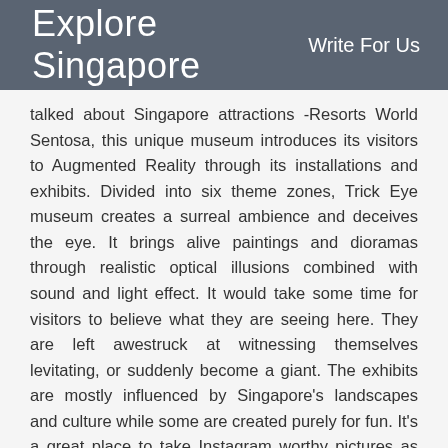Explore Singapore   Home   Blog   Write For Us
talked about Singapore attractions -Resorts World Sentosa, this unique museum introduces its visitors to Augmented Reality through its installations and exhibits. Divided into six theme zones, Trick Eye museum creates a surreal ambience and deceives the eye. It brings alive paintings and dioramas through realistic optical illusions combined with sound and light effect. It would take some time for visitors to believe what they are seeing here. They are left awestruck at witnessing themselves levitating, or suddenly become a giant. The exhibits are mostly influenced by Singapore's landscapes and culture while some are created purely for fun. It's a great place to take Instagram worthy pictures as you will be part of these uncanny exhibits.
How to get here: Located inside Resorts World Sentosa, near to SEA Aquarium, the museum is a couple of minutes away from Sentosa Waterfront Station.
Operating time: Daily – 10.00 am to 9.00 pm